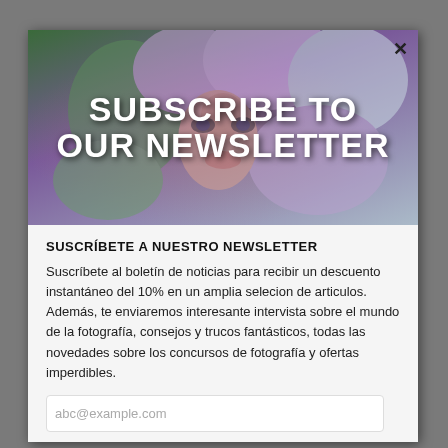[Figure (photo): Newsletter subscription modal popup with a banner photo of a woman's face partially hidden by purple/lilac flowers and green leaves, with overlay text 'SUBSCRIBE TO OUR NEWSLETTER' in bold white uppercase letters]
SUSCRÍBETE A NUESTRO NEWSLETTER
Suscríbete al boletín de noticias para recibir un descuento instantáneo del 10% en un amplia selecion de articulos. Además, te enviaremos interesante intervista sobre el mundo de la fotografía, consejos y trucos fantásticos, todas las novedades sobre los concursos de fotografía y ofertas imperdibles.
abc@example.com